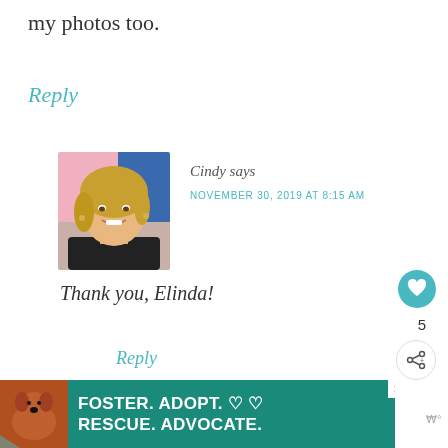my photos too.
Reply
[Figure (photo): Avatar photo of Cindy, a smiling blonde woman in a black top against a pink and blue background]
Cindy says
NOVEMBER 30, 2019 AT 8:15 AM
Thank you, Elinda!
Reply
[Figure (infographic): FOSTER. ADOPT. RESCUE. ADVOCATE. animal shelter advertisement with dog photo on teal background]
WHAT'S NEXT → A Miami Christmas